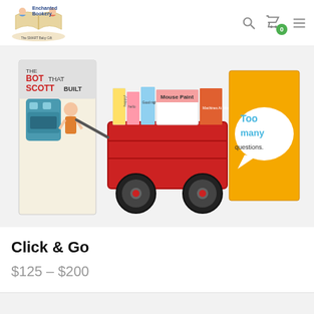[Figure (logo): Enchanted Bookery logo with cartoon children reading a book and tagline 'The SMART Baby Gift']
[Figure (photo): Product photo showing children's books including 'The Bot That Scott Built' and 'Too many questions.' arranged with a red toy wagon filled with books]
Click & Go
$125 – $200